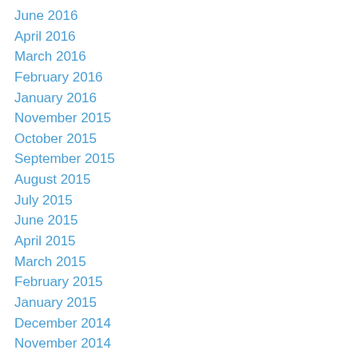June 2016
April 2016
March 2016
February 2016
January 2016
November 2015
October 2015
September 2015
August 2015
July 2015
June 2015
April 2015
March 2015
February 2015
January 2015
December 2014
November 2014
October 2014
September 2014
August 2014